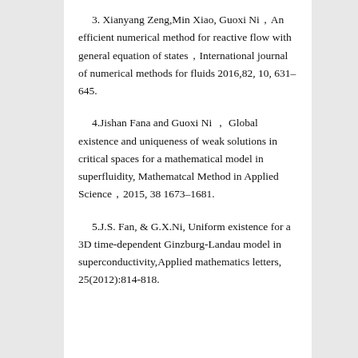3. Xianyang Zeng,Min Xiao, Guoxi Ni，An efficient numerical method for reactive flow with general equation of states，International journal of numerical methods for fluids 2016,82, 10, 631–645.
4.Jishan Fana and Guoxi Ni ， Global existence and uniqueness of weak solutions in critical spaces for a mathematical model in superfluidity, Mathematcal Method in Applied Science，2015, 38 1673–1681.
5.J.S. Fan, & G.X.Ni, Uniform existence for a 3D time-dependent Ginzburg-Landau model in superconductivity,Applied mathematics letters, 25(2012):814-818.